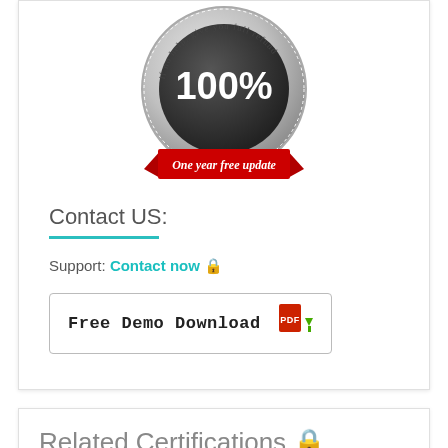[Figure (illustration): Silver medal/badge with '100%' text and 'One year free update' red ribbon banner, with text around the edge reading 'if no help, give you full refund']
Contact US:
Support: Contact now 🔒
[Figure (illustration): Free Demo Download button with PDF icon and green download arrow]
Related Certifications 🔒
🔒 Oracle Outlook 2016